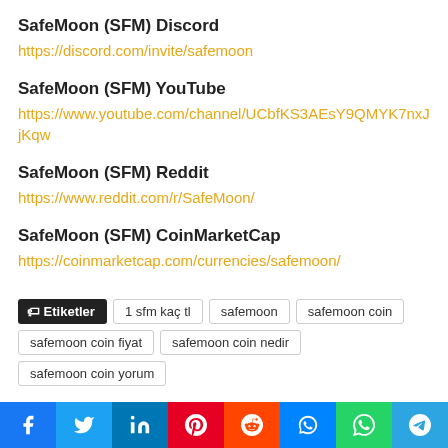SafeMoon (SFM) Discord
https://discord.com/invite/safemoon
SafeMoon (SFM) YouTube
https://www.youtube.com/channel/UCbfKS3AEsY9QMYK7nxJjKqw
SafeMoon (SFM) Reddit
https://www.reddit.com/r/SafeMoon/
SafeMoon (SFM) CoinMarketCap
https://coinmarketcap.com/currencies/safemoon/
Etiketler  1 sfm kaç tl  safemoon  safemoon coin  safemoon coin fiyat  safemoon coin nedir  safemoon coin yorum